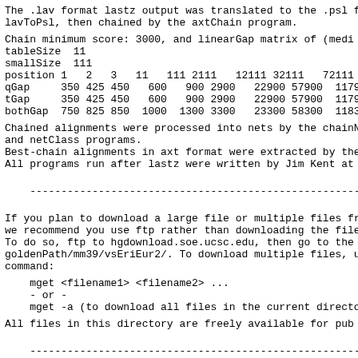The .lav format lastz output was translated to the .psl f lavToPsl, then chained by the axtChain program.
Chain minimum score: 3000, and linearGap matrix of (mediu tableSize  11
smallSize  111
position 1   2   3   11   111 2111   12111 32111   72111 15
qGap     350 425 450   600   900 2900   22900 57900  117900 21
tGap     350 425 450   600   900 2900   22900 57900  117900 21
bothGap  750 825 850  1000  1300 3300   23300 58300  118300 21
Chained alignments were processed into nets by the chainN and netClass programs.
Best-chain alignments in axt format were extracted by the
All programs run after lastz were written by Jim Kent at
--------------------------------------------------------------------------------
If you plan to download a large file or multiple files fr we recommend you use ftp rather than downloading the file To do so, ftp to hgdownload.soe.ucsc.edu, then go to the goldenPath/mm39/vsEriEur2/. To download multiple files, u command:
mget <filename1> <filename2> ...
    - or -
    mget -a (to download all files in the current directo
All files in this directory are freely available for pub
--------------------------------------------------------------------------------